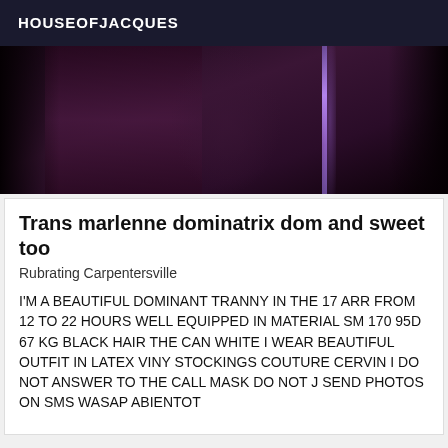HOUSEOFJACQUES
[Figure (photo): Dark photograph showing legs and a purple/violet vertical light streak against a dark background]
Trans marlenne dominatrix dom and sweet too
Rubrating Carpentersville
I'M A BEAUTIFUL DOMINANT TRANNY IN THE 17 ARR FROM 12 TO 22 HOURS WELL EQUIPPED IN MATERIAL SM 170 95D 67 KG BLACK HAIR THE CAN WHITE I WEAR BEAUTIFUL OUTFIT IN LATEX VINY STOCKINGS COUTURE CERVIN I DO NOT ANSWER TO THE CALL MASK DO NOT J SEND PHOTOS ON SMS WASAP ABIENTOT